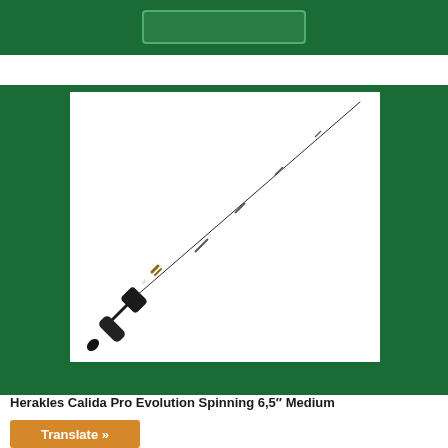[Figure (photo): A fishing rod (Herakles Calida Pro Evolution Spinning 6,5" Medium) shown diagonally against a white background, with a dark graphite blank tapering from bottom-left handle to upper-right tip. The handle section is black with grip and reel seat visible.]
Herakles Calida Pro Evolution Spinning 6,5" Medium
Translate »